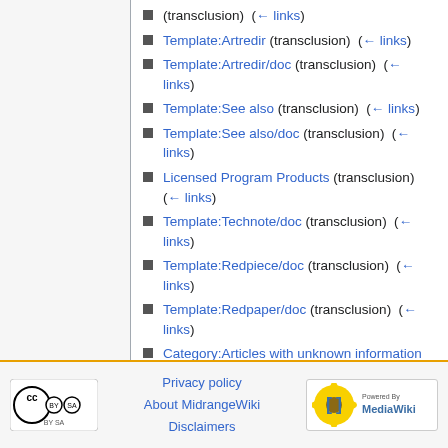(transclusion)  (← links)
Template:Artredir (transclusion)  (← links)
Template:Artredir/doc (transclusion)  (← links)
Template:See also (transclusion)  (← links)
Template:See also/doc (transclusion)  (← links)
Licensed Program Products (transclusion)  (← links)
Template:Technote/doc (transclusion)  (← links)
Template:Redpiece/doc (transclusion)  (← links)
Template:Redpaper/doc (transclusion)  (← links)
Category:Articles with unknown information (transclusion)  (← links)
View (previous 50 | next 50) (20 | 50 | 100 | 250 | 500)
Privacy policy  About MidrangeWiki  Disclaimers